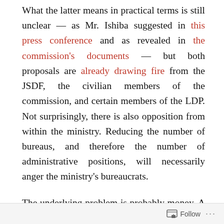What the latter means in practical terms is still unclear — as Mr. Ishiba suggested in this press conference and as revealed in the commission's documents — but both proposals are already drawing fire from the JSDF, the civilian members of the commission, and certain members of the LDP. Not surprisingly, there is also opposition from within the ministry. Reducing the number of bureaus, and therefore the number of administrative positions, will necessarily anger the ministry's bureaucrats.
The underlying problem is probably money. A departmental reorganization would be much easier to accept if the agency/ministry's budget had been rising
Follow ...